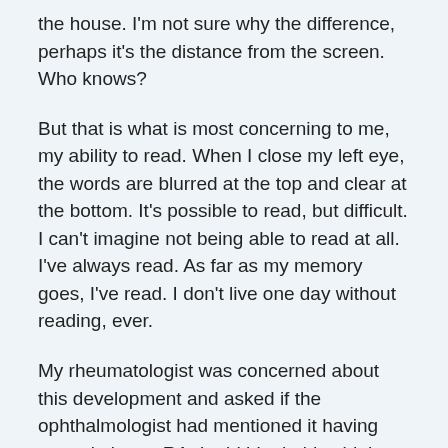the house. I'm not sure why the difference, perhaps it's the distance from the screen. Who knows?
But that is what is most concerning to me, my ability to read. When I close my left eye, the words are blurred at the top and clear at the bottom. It's possible to read, but difficult. I can't imagine not being able to read at all. I've always read. As far as my memory goes, I've read. I don't live one day without reading, ever.
My rheumatologist was concerned about this development and asked if the ophthalmologist had mentioned it having any relation to RA. I told him he'd said that we'd have to "work real hard to find a connection between the two."
He agreed that I should get a second opinion and referred me to a retinal specialist he knows. Since I trust my rheumatologist implicitly, I feel I already trust this new specialist without ever having laid eyes on him. But that's a